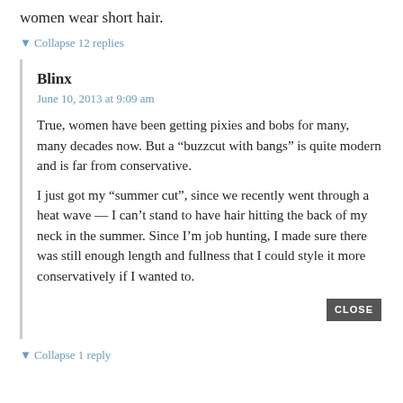women wear short hair.
▼ Collapse 12 replies
Blinx
June 10, 2013 at 9:09 am
True, women have been getting pixies and bobs for many, many decades now. But a “buzzcut with bangs” is quite modern and is far from conservative.
I just got my “summer cut”, since we recently went through a heat wave — I can’t stand to have hair hitting the back of my neck in the summer. Since I’m job hunting, I made sure there was still enough length and fullness that I could style it more conservatively if I wanted to.
CLOSE
▼ Collapse 1 reply